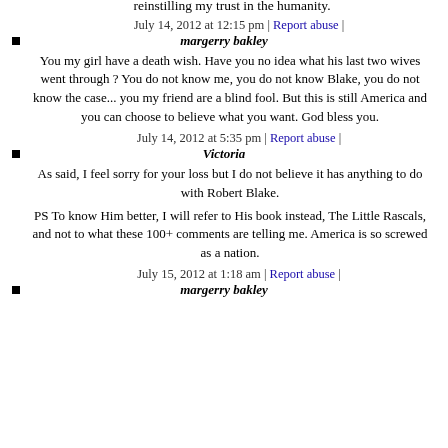reinstilling my trust in the humanity.
July 14, 2012 at 12:15 pm | Report abuse |
margerry bakley
You my girl have a death wish. Have you no idea what his last two wives went through ? You do not know me, you do not know Blake, you do not know the case... you my friend are a blind fool. But this is still America and you can choose to believe what you want. God bless you.
July 14, 2012 at 5:35 pm | Report abuse |
Victoria
As said, I feel sorry for your loss but I do not believe it has anything to do with Robert Blake.
PS To know Him better, I will refer to His book instead, The Little Rascals, and not to what these 100+ comments are telling me. America is so screwed as a nation.
July 15, 2012 at 1:18 am | Report abuse |
margerry bakley